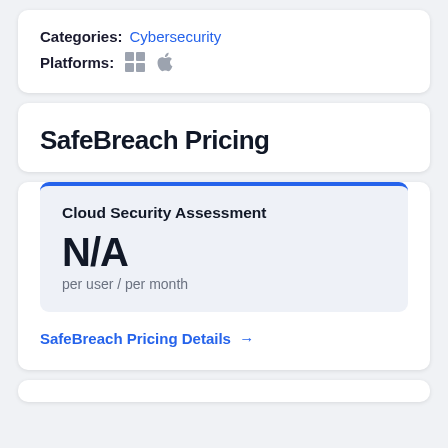Categories: Cybersecurity
Platforms: [Windows] [Apple]
SafeBreach Pricing
Cloud Security Assessment
N/A
per user / per month
SafeBreach Pricing Details →